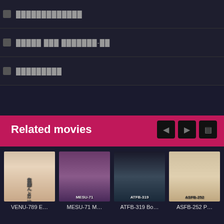█████████████
█████ ███ ███████-██
█████████
Related movies
[Figure (photo): Movie thumbnail for VENU-789]
VENU-789 E…
[Figure (photo): Movie thumbnail for MESU-71]
MESU-71 M…
[Figure (photo): Movie thumbnail for ATFB-319]
ATFB-319 Bo…
[Figure (photo): Movie thumbnail for ASFB-252]
ASFB-252 P…